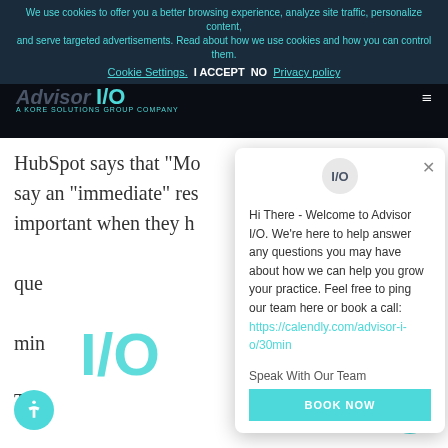We use cookies to offer you a better browsing experience, analyze site traffic, personalize content, and serve targeted advertisements. Read about how we use cookies and how you can control them. Cookie Settings. I ACCEPT NO Privacy policy
[Figure (screenshot): Advisor I/O navigation bar logo on dark background with hamburger menu icon]
HubSpot says that "Mo... say an "immediate" res... important when they h... que min
[Figure (logo): I/O logo watermark in teal color]
[Figure (screenshot): Chat popup widget showing welcome message from Advisor I/O with link to book a call]
Hi There - Welcome to Advisor I/O. We're here to help answer any questions you may have about how we can help you grow your practice. Feel free to ping our team here or book a call: https://calendly.com/advisor-i-o/30min
Speak With Our Team
BOOK NOW
This